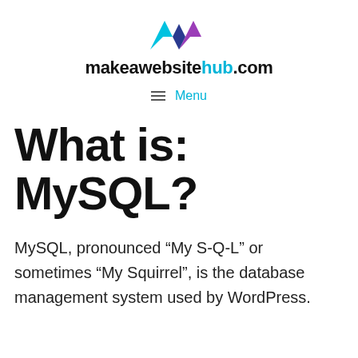[Figure (logo): makeawebsitehub.com logo with triangular M-shaped icon in cyan, purple, and blue above the site name in bold black and cyan text]
≡ Menu
What is: MySQL?
MySQL, pronounced “My S-Q-L” or sometimes “My Squirrel”, is the database management system used by WordPress.